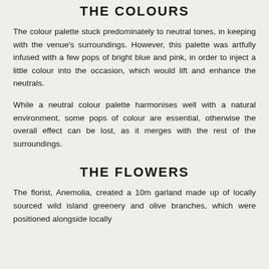THE COLOURS
The colour palette stuck predominately to neutral tones, in keeping with the venue's surroundings. However, this palette was artfully infused with a few pops of bright blue and pink, in order to inject a little colour into the occasion, which would lift and enhance the neutrals.
While a neutral colour palette harmonises well with a natural environment, some pops of colour are essential, otherwise the overall effect can be lost, as it merges with the rest of the surroundings.
THE FLOWERS
The florist, Anemolia, created a 10m garland made up of locally sourced wild island greenery and olive branches, which were positioned alongside locally sourced fresh ingredients, which were primarily...